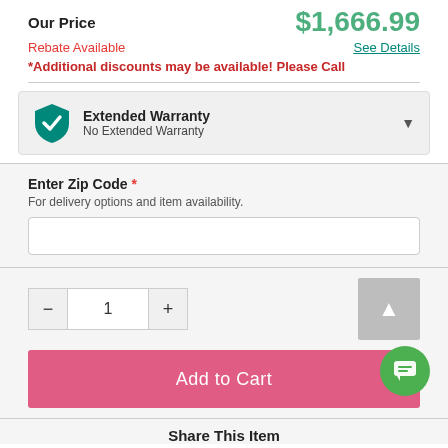Our Price  $1,666.99
Rebate Available  See Details
*Additional discounts may be available! Please Call
Extended Warranty
No Extended Warranty
Enter Zip Code *
For delivery options and item availability.
1
Add to Cart
Share This Item